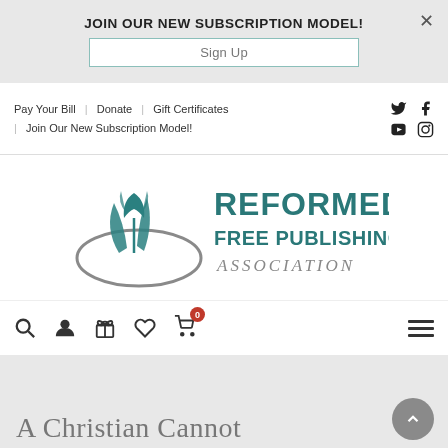JOIN OUR NEW SUBSCRIPTION MODEL!
Sign Up
Pay Your Bill | Donate | Gift Certificates | Join Our New Subscription Model!
[Figure (logo): Reformed Free Publishing Association logo with teal tulip/leaf graphic and text 'REFORMED FREE PUBLISHING ASSOCIATION']
[Figure (infographic): Navigation toolbar with search, user, gift, heart, and cart icons (cart badge showing 0), and hamburger menu]
A Christian Cannot